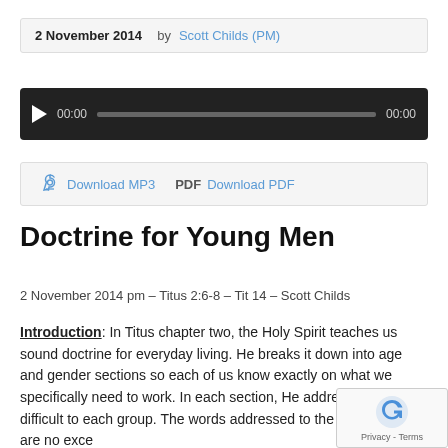2 November 2014  by Scott Childs (PM)
[Figure (other): Audio player with play button, time display 00:00 / 00:00, and progress bar on dark background]
Download MP3   PDF Download PDF
Doctrine for Young Men
2 November 2014 pm – Titus 2:6-8 – Tit 14 – Scott Childs
Introduction: In Titus chapter two, the Holy Spirit teaches us sound doctrine for everyday living. He breaks it down into age and gender sections so each of us know exactly on what we specifically need to work. In each section, He addresses issues difficult to each group. The words addressed to the young men are no exce